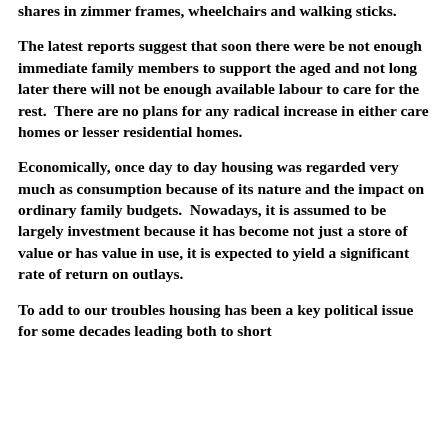shares in zimmer frames, wheelchairs and walking sticks.
The latest reports suggest that soon there were be not enough immediate family members to support the aged and not long later there will not be enough available labour to care for the rest.  There are no plans for any radical increase in either care homes or lesser residential homes.
Economically, once day to day housing was regarded very much as consumption because of its nature and the impact on ordinary family budgets.  Nowadays, it is assumed to be largely investment because it has become not just a store of value or has value in use, it is expected to yield a significant rate of return on outlays.
To add to our troubles housing has been a key political issue for some decades leading both to short